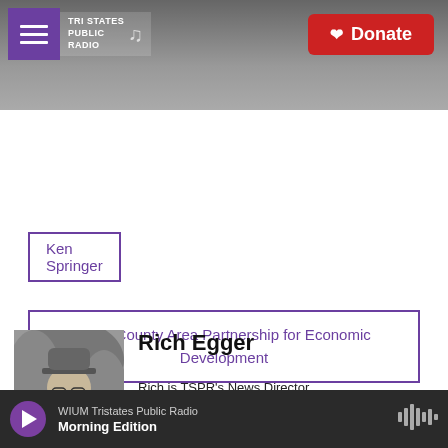[Figure (screenshot): Tri States Public Radio website header with logo, menu button, and red Donate button over a grayscale background photo of a radio tower]
Ken Springer
Knox County Area Partnership for Economic Development
[Figure (other): Social share buttons: Facebook, Twitter, LinkedIn, Email]
[Figure (photo): Black and white photo of Rich Egger wearing a hat and glasses, smiling]
Rich Egger
Rich is TSPR's News Director.
See stories by Rich Egger
WIIUM Tristates Public Radio Morning Edition